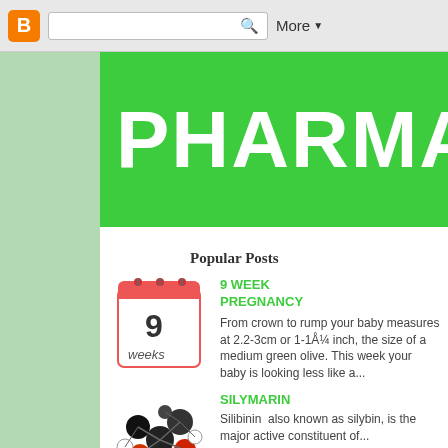[Figure (screenshot): Blogger navigation bar with orange B icon, search box, and More dropdown]
PHARMA CAR
Popular Posts
[Figure (illustration): Calendar icon showing '9 weeks']
9 WEEK PREGNANCY
From crown to rump your baby measures at 2.2-3cm or 1-1Å¼ inch, the size of a medium green olive. This week your baby is looking less like a...
[Figure (illustration): Molecular structure illustration with black, red and white spheres]
SILYMARIN
Silibinin  also known as silybin, is the major active constituent of...
Saturday, April 26,
Sodium N